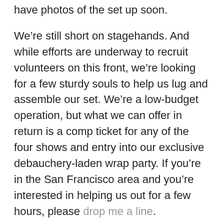have photos of the set up soon.
We’re still short on stagehands. And while efforts are underway to recruit volunteers on this front, we’re looking for a few sturdy souls to help us lug and assemble our set. We’re a low-budget operation, but what we can offer in return is a comp ticket for any of the four shows and entry into our exclusive debauchery-laden wrap party. If you’re in the San Francisco area and you’re interested in helping us out for a few hours, please drop me a line.
For all interested parties, we hope to see you at one of the shows! Check the website for info. If you’re interested in getting in early on the action, advance tickets go on sale on Wednesday (which if my calculations are correct, might be tomorrow).